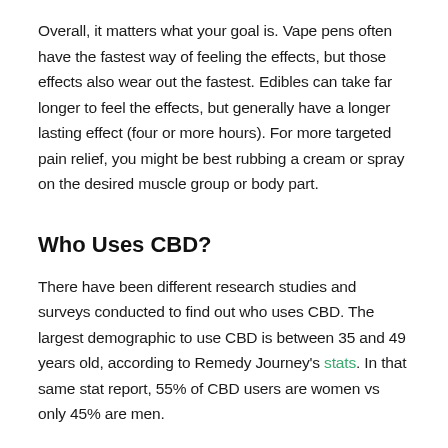Overall, it matters what your goal is. Vape pens often have the fastest way of feeling the effects, but those effects also wear out the fastest. Edibles can take far longer to feel the effects, but generally have a longer lasting effect (four or more hours). For more targeted pain relief, you might be best rubbing a cream or spray on the desired muscle group or body part.
Who Uses CBD?
There have been different research studies and surveys conducted to find out who uses CBD. The largest demographic to use CBD is between 35 and 49 years old, according to Remedy Journey's stats. In that same stat report, 55% of CBD users are women vs only 45% are men.